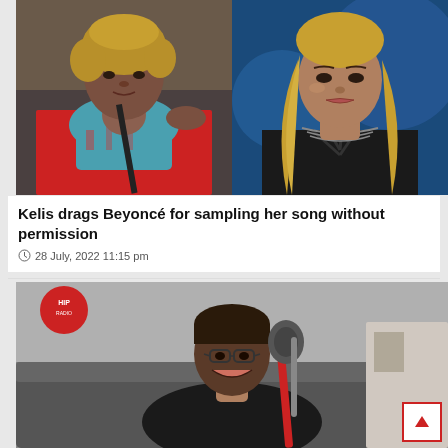[Figure (photo): Side-by-side photos of Kelis (left, wearing red jacket and teal scarf with curly blonde hair) and Beyoncé (right, with long blonde hair wearing black sequined outfit against blue background)]
Kelis drags Beyoncé for sampling her song without permission
28 July, 2022 11:15 pm
[Figure (photo): Man in glasses and black leather jacket smiling at a radio studio microphone, with a Hip radio logo visible in the top left corner]